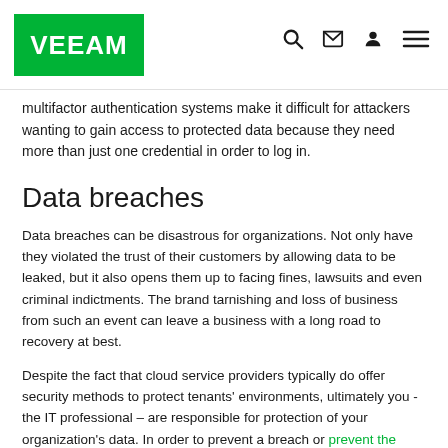Veeam navigation bar with logo and icons
multifactor authentication systems make it difficult for attackers wanting to gain access to protected data because they need more than just one credential in order to log in.
Data breaches
Data breaches can be disastrous for organizations. Not only have they violated the trust of their customers by allowing data to be leaked, but it also opens them up to facing fines, lawsuits and even criminal indictments. The brand tarnishing and loss of business from such an event can leave a business with a long road to recovery at best.
Despite the fact that cloud service providers typically do offer security methods to protect tenants' environments, ultimately you - the IT professional – are responsible for protection of your organization's data. In order to prevent a breach or prevent the ransomware attack, you need to become a fan of encryption. If you use cloud for storage, experts agree data should be encrypted at no less than 256-bit AES (Advanced Encryption Standard) before it leaves your network. The data should be